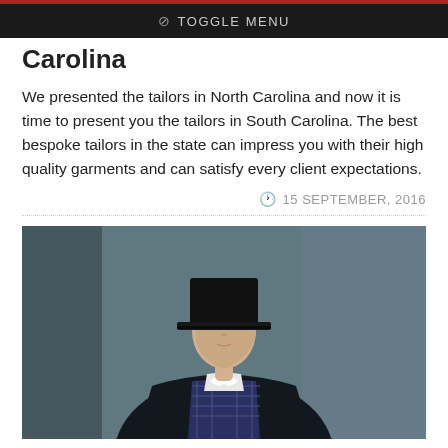TOGGLE MENU
Carolina
We presented the tailors in North Carolina and now it is time to present you the tailors in South Carolina. The best bespoke tailors in the state can impress you with their high quality garments and can satisfy every client expectations.
15 SEPTEMBER, 2016
[Figure (photo): A young man in formal attire wearing a black top hat, white bow tie, white dress shirt, plaid waistcoat, and dark blazer, photographed against a dark grey background.]